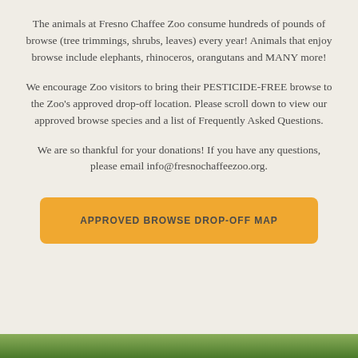The animals at Fresno Chaffee Zoo consume hundreds of pounds of browse (tree trimmings, shrubs, leaves) every year! Animals that enjoy browse include elephants, rhinoceros, orangutans and MANY more!
We encourage Zoo visitors to bring their PESTICIDE-FREE browse to the Zoo's approved drop-off location. Please scroll down to view our approved browse species and a list of Frequently Asked Questions.
We are so thankful for your donations! If you have any questions, please email info@fresnochaffeezoo.org.
APPROVED BROWSE DROP-OFF MAP